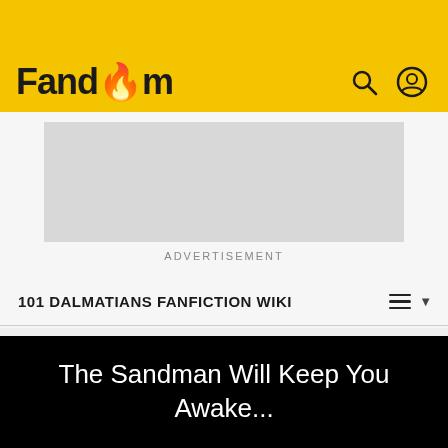Fandom
[Figure (other): Gray advertisement placeholder rectangle]
ADVERTISEMENT
101 DALMATIANS FANFICTION WIKI
Bolt
✏ EDIT
The Sandman Will Keep You Awake...